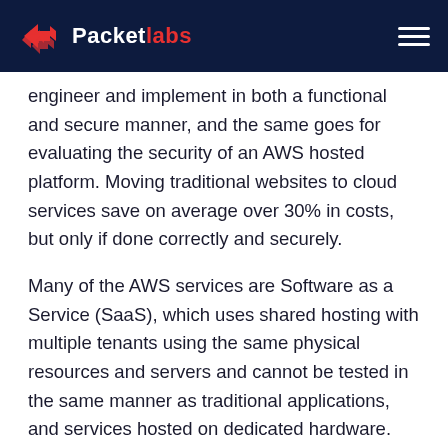Packetlabs
engineer and implement in both a functional and secure manner, and the same goes for evaluating the security of an AWS hosted platform. Moving traditional websites to cloud services save on average over 30% in costs, but only if done correctly and securely.
Many of the AWS services are Software as a Service (SaaS), which uses shared hosting with multiple tenants using the same physical resources and servers and cannot be tested in the same manner as traditional applications, and services hosted on dedicated hardware. Elastic Cloud Computing (EC2) is one of Amazons most